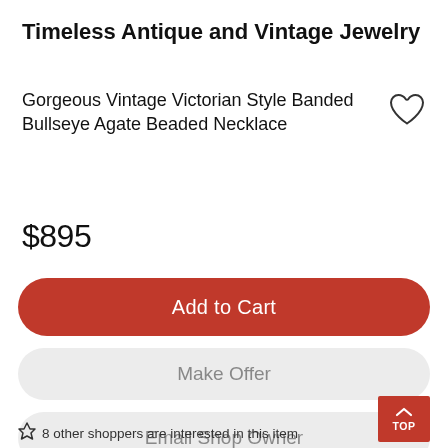Timeless Antique and Vintage Jewelry
Gorgeous Vintage Victorian Style Banded Bullseye Agate Beaded Necklace
$895
Add to Cart
Make Offer
Email Shop Owner
8 other shoppers are interested in this item